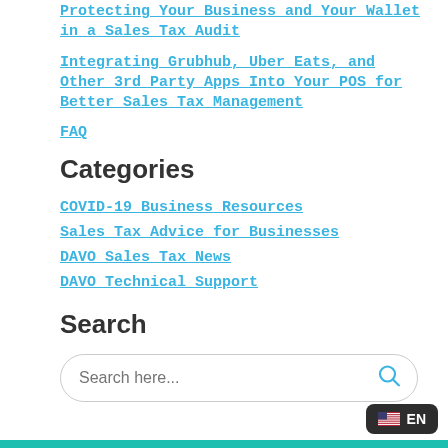Protecting Your Business and Your Wallet in a Sales Tax Audit
Integrating Grubhub, Uber Eats, and Other 3rd Party Apps Into Your POS for Better Sales Tax Management
FAQ
Categories
COVID-19 Business Resources
Sales Tax Advice for Businesses
DAVO Sales Tax News
DAVO Technical Support
Search
Search here...